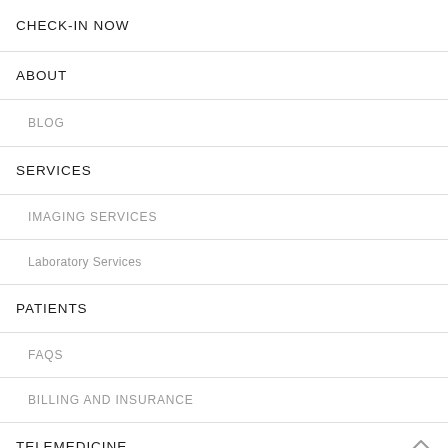CHECK-IN NOW
ABOUT
BLOG
SERVICES
IMAGING SERVICES
Laboratory Services
PATIENTS
FAQS
BILLING AND INSURANCE
TELEMEDICINE